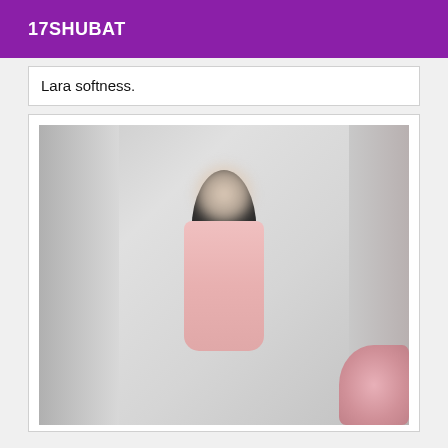17SHUBAT
Lara softness.
[Figure (photo): A person with dark hair wearing a pink short dress, face blurred for privacy, standing against a light gray wall background.]